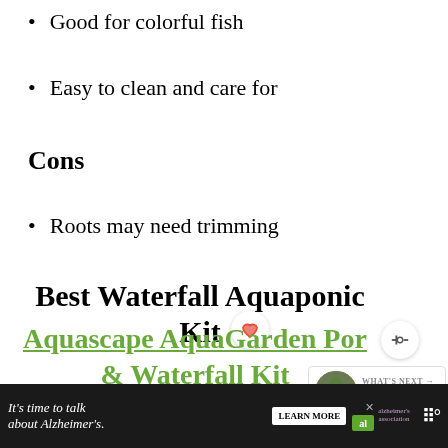Good for colorful fish
Easy to clean and care for
Cons
Roots may need trimming
Best Waterfall Aquaponic Kit
Aquascape AquaGarden Por & Waterfall Kit
[Figure (photo): Photo of green plants/garden scene]
[Figure (screenshot): Advertisement banner: It's time to talk about Alzheimer's. Learn More. Alzheimer's Association logo.]